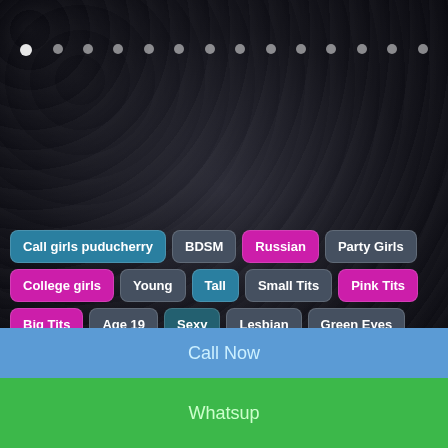Call girls puducherry
BDSM
Russian
Party Girls
College girls
Young
Tall
Small Tits
Pink Tits
Big Tits
Age 19
Sexy
Lesbian
Green Eyes
Slim
Chinese
Threesome
HJ & BJ
Shapely
Bengali Models
Airhostess
Asian
Big Ass
Blonde
Housewife Models
Celebrity
Curvy Body
Local Girls
IIT Girls
Independent Girls
Anal Girls
Perfect Girls
Married Women
Muslim puducherry Escorts Service
Call Now
Whatsup